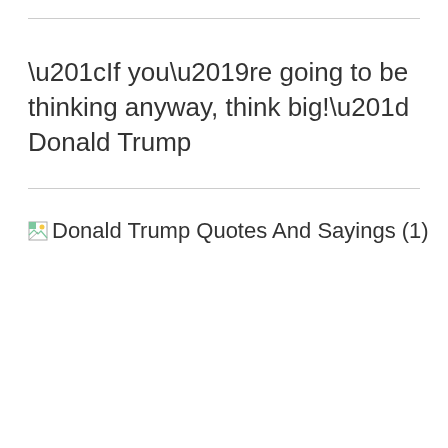“If you’re going to be thinking anyway, think big!” Donald Trump
[Figure (illustration): Broken image placeholder with alt text: Donald Trump Quotes And Sayings (1)]